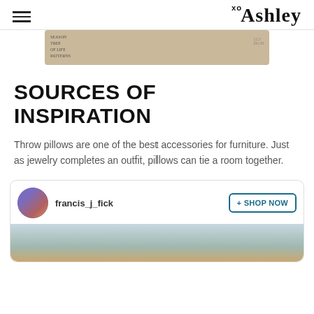xo Ashley
[Figure (photo): Partial view of a framed art piece or wall text on a beige/tan background]
SOURCES OF INSPIRATION
Throw pillows are one of the best accessories for furniture. Just as jewelry completes an outfit, pillows can tie a room together.
[Figure (screenshot): Social media card showing user 'francis_j_fick' with a circular avatar photo of a woman, and a '+ SHOP NOW' button, with a room photo below]